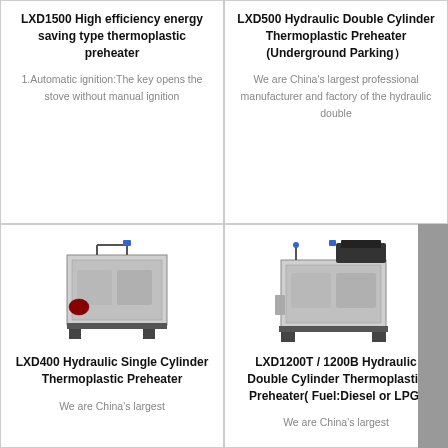LXD1500 High efficiency energy saving type thermoplastic preheater
1.Automatic ignition:The key opens the stove without manual ignition
LXD500 Hydraulic Double Cylinder Thermoplastic Preheater (Underground Parking）
We are China’s largest professional manufacturer and factory of the hydraulic double
[Figure (photo): LXD400 Hydraulic Single Cylinder Thermoplastic Preheater machine photo]
LXD400 Hydraulic Single Cylinder Thermoplastic Preheater
We are China’s largest
[Figure (photo): LXD1200T / 1200B Hydraulic Double Cylinder Thermoplastic Preheater machine photo]
LXD1200T / 1200B Hydraulic Double Cylinder Thermoplastic Preheater( Fuel:Diesel or LPG)
We are China’s largest